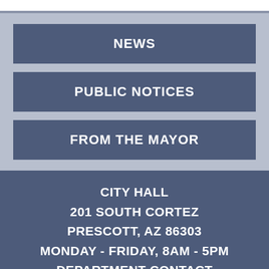NEWS
PUBLIC NOTICES
FROM THE MAYOR
CITY HALL
201 SOUTH CORTEZ
PRESCOTT, AZ 86303
MONDAY - FRIDAY, 8AM - 5PM
DEPARTMENT CONTACT INFORMATION